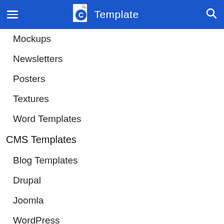C Template
Mockups
Newsletters
Posters
Textures
Word Templates
CMS Templates
Blog Templates
Drupal
Joomla
WordPress